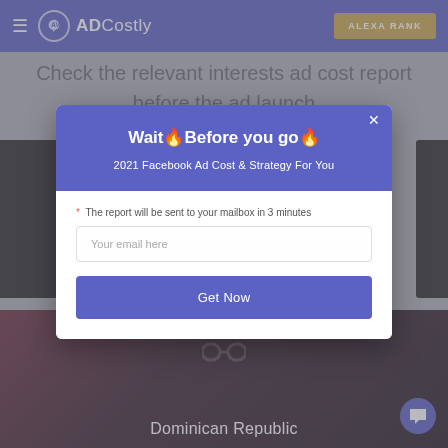≡ ADCostly   ALEXA RANK
Check the relevant interests ad cost report before the ad launch
[Figure (screenshot): Modal popup dialog on ADCostly website with purple header saying 'Wait Before you go' and email capture form]
Wait Before you go
2021 Facebook Ad Cost & Strategy For You
* The report will be sent to your mailbox in 3 minutes
Your email here
Get Now
[Figure (photo): Dominican Republic dark themed card with headphones image and chain link icon]
Dominican Republic